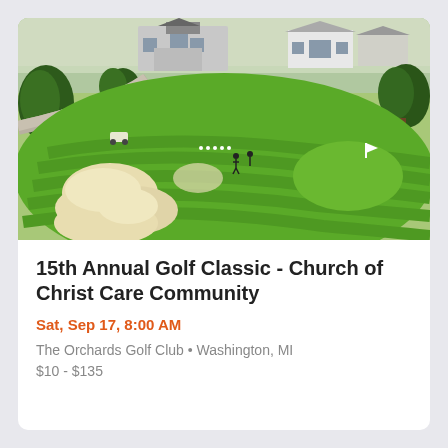[Figure (photo): Aerial view of a golf course with sand bunkers, green fairways, and a clubhouse in the background. Several golfers visible on the course.]
15th Annual Golf Classic - Church of Christ Care Community
Sat, Sep 17, 8:00 AM
The Orchards Golf Club • Washington, MI
$10 - $135